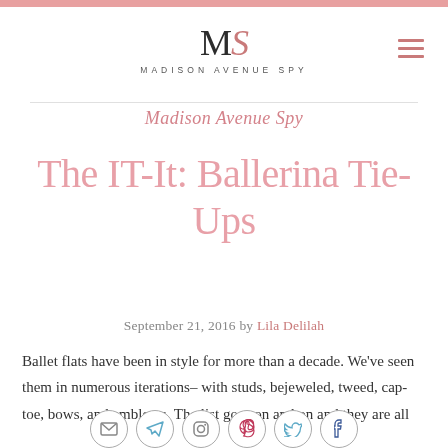MADISON AVENUE SPY
Madison Avenue Spy
The IT-It: Ballerina Tie-Ups
September 21, 2016 by Lila Delilah
Ballet flats have been in style for more than a decade. We've seen them in numerous iterations– with studs, bejeweled, tweed, cap-toe, bows, and emblems. The list goes on and on and they are all